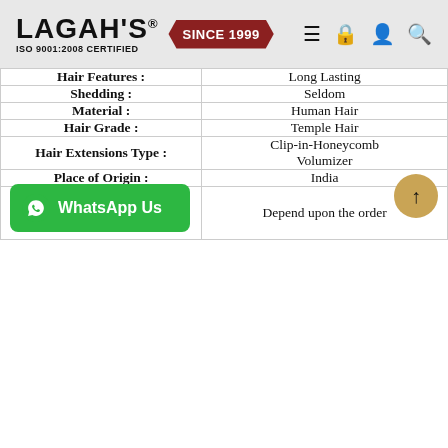[Figure (logo): Lagah's logo with ISO 9001:2008 certified text, Since 1999 badge, and navigation icons]
| Attribute | Value |
| --- | --- |
| Hair Features : | Long Lasting |
| Shedding : | Seldom |
| Material : | Human Hair |
| Hair Grade : | Temple Hair |
| Hair Extensions Type : | Clip-in-Honeycomb Volumizer |
| Place of Origin : | India |
|  | Depend upon the order |